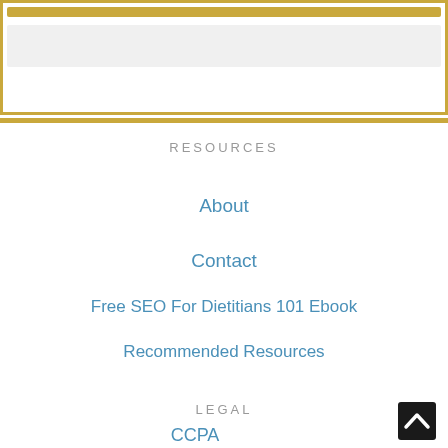[Figure (other): Top decorative box with gold border, gold bar at top, and gray bar below]
RESOURCES
About
Contact
Free SEO For Dietitians 101 Ebook
Recommended Resources
LEGAL
CCPA